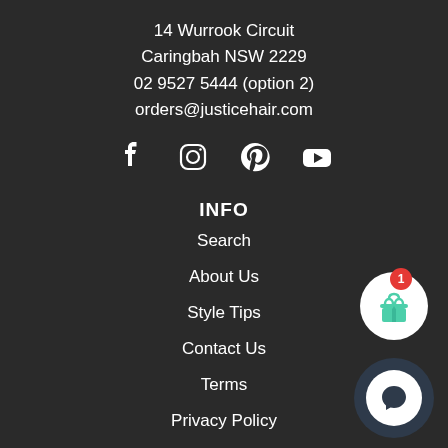14 Wurrook Circuit
Caringbah NSW 2229
02 9527 5444 (option 2)
orders@justicehair.com
[Figure (infographic): Social media icons row: Facebook, Instagram, Pinterest, YouTube]
INFO
Search
About Us
Style Tips
Contact Us
Terms
Privacy Policy
Returns/Refunds Policy